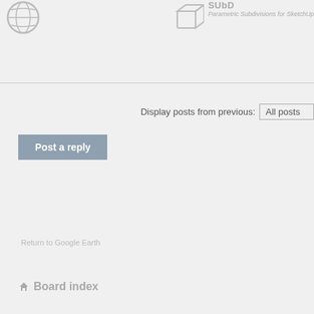[Figure (logo): Globe icon partially visible at top left]
[Figure (logo): SUbD cube icon with text 'SUbD' and subtitle 'Parametric Subdivisions for SketchUp' at top right]
Display posts from previous: All posts
Post a reply
Return to Google Earth
Board index